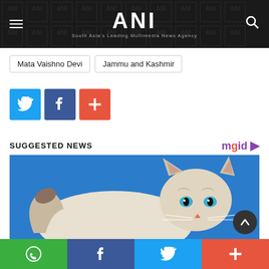ANI — South Asia's Leading Multimedia News Agency
Mata Vaishno Devi | Jammu and Kashmir
[Figure (screenshot): Social share buttons: Twitter (blue), Facebook (dark blue), Plus/More (orange-red)]
SUGGESTED NEWS
[Figure (photo): A fluffy Siberian or Birman cat with blue eyes on a blue background]
Bottom navigation bar with WhatsApp, Facebook, Twitter, and Plus share icons